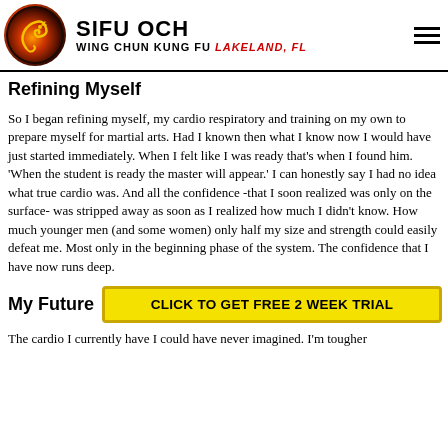SIFU OCH WING CHUN KUNG FU Lakeland, FL
Refining Myself
So I began refining myself, my cardio respiratory and training on my own to prepare myself for martial arts. Had I known then what I know now I would have just started immediately. When I felt like I was ready that's when I found him. 'When the student is ready the master will appear.' I can honestly say I had no idea what true cardio was. And all the confidence -that I soon realized was only on the surface- was stripped away as soon as I realized how much I didn't know. How much younger men (and some women) only half my size and strength could easily defeat me. Most only in the beginning phase of the system. The confidence that I have now runs deep.
My Future
The cardio I currently have I could have never imagined. I'm tougher